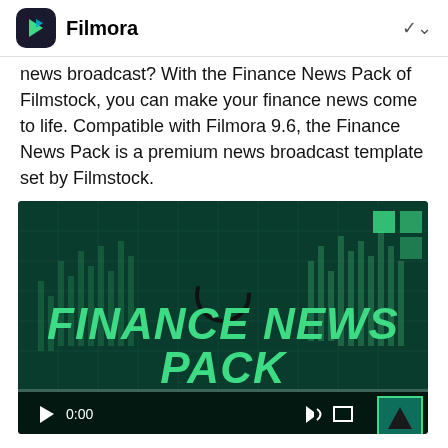Filmora
news broadcast? With the Finance News Pack of Filmstock, you can make your finance news come to life. Compatible with Filmora 9.6, the Finance News Pack is a premium news broadcast template set by Filmstock.
[Figure (screenshot): Video player showing Finance News Pack title screen with green text on dark green background with stock chart graphics. Controls show 0:00 timestamp.]